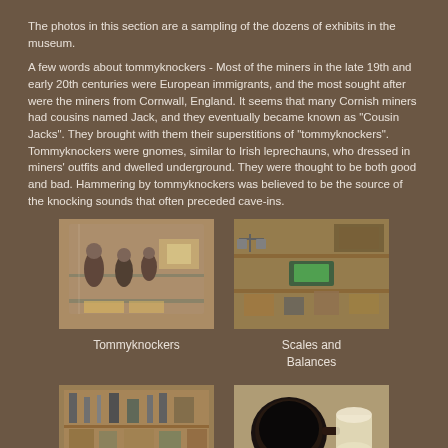The photos in this section are a sampling of the dozens of exhibits in the museum.
A few words about tommyknockers - Most of the miners in the late 19th and early 20th centuries were European immigrants, and the most sought after were the miners from Cornwall, England. It seems that many Cornish miners had cousins named Jack, and they eventually became known as "Cousin Jacks". They brought with them their superstitions of "tommyknockers". Tommyknockers were gnomes, similar to Irish leprechauns, who dressed in miners' outfits and dwelled underground. They were thought to be both good and bad. Hammering by tommyknockers was believed to be the source of the knocking sounds that often preceded cave-ins.
[Figure (photo): Museum exhibit showing Tommyknocker figurines and mining displays in a glass case]
Tommyknockers
[Figure (photo): Museum exhibit showing scales and balances on display shelves]
Scales and Balances
[Figure (photo): Museum exhibit showing mining tools and equipment on wooden display shelves]
[Figure (photo): Museum exhibit showing a dark circular object and ceramic vessels with a placard]